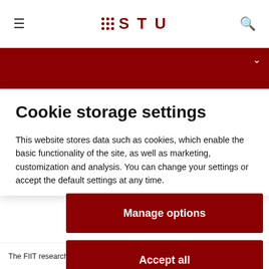STU
Cookie storage settings
This website stores data such as cookies, which enable the basic functionality of the site, as well as marketing, customization and analysis. You can change your settings or accept the default settings at any time.
Manage options
Accept all
The FIIT researchers will test the sensory readability of horizontal and